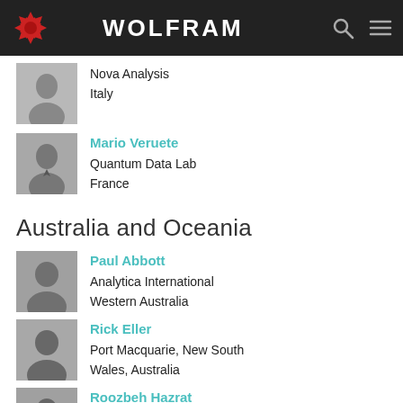WOLFRAM
Nova Analysis
Italy
Mario Veruete
Quantum Data Lab
France
Australia and Oceania
Paul Abbott
Analytica International
Western Australia
Rick Eller
Port Macquarie, New South Wales, Australia
Roozbeh Hazrat
Western Sydney University